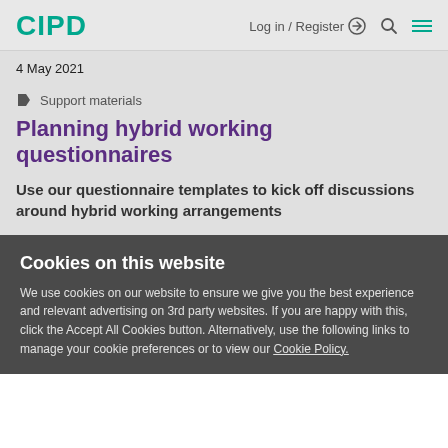CIPD  Log in / Register  Search  Menu
4 May 2021
Support materials
Planning hybrid working questionnaires
Use our questionnaire templates to kick off discussions around hybrid working arrangements
Cookies on this website
We use cookies on our website to ensure we give you the best experience and relevant advertising on 3rd party websites. If you are happy with this, click the Accept All Cookies button. Alternatively, use the following links to manage your cookie preferences or to view our Cookie Policy.